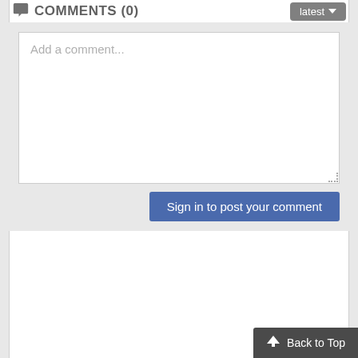COMMENTS (0)
Add a comment...
Sign in to post your comment
Back to Top